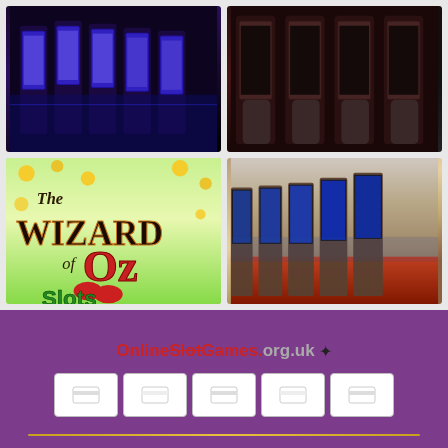[Figure (photo): Row of colorful slot machines with blue lighting in a casino, top-left image]
[Figure (photo): Ornate slot machines with wooden chairs in a casino, top-right image]
[Figure (photo): Wizard of Oz Slots game logo with ruby slippers and gold coins]
[Figure (photo): Modern casino floor with row of slot machines with blue screens]
[Figure (logo): OnlineSlotGames.org.uk website logo with sparkle icon]
[Figure (other): Row of 5 payment method icons in white boxes]
OnlineSlotGames.org.uk